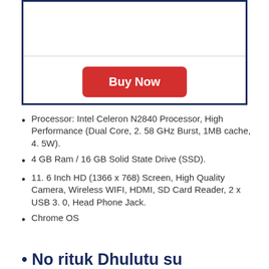[Figure (other): Buy Now button inside a navy blue bordered box with a horizontal divider line]
Processor: Intel Celeron N2840 Processor, High Performance (Dual Core, 2. 58 GHz Burst, 1MB cache, 4. 5W).
4 GB Ram / 16 GB Solid State Drive (SSD).
11. 6 Inch HD (1366 x 768) Screen, High Quality Camera, Wireless WIFI, HDMI, SD Card Reader, 2 x USB 3. 0, Head Phone Jack.
Chrome OS
• No rituk Dhulutu su...